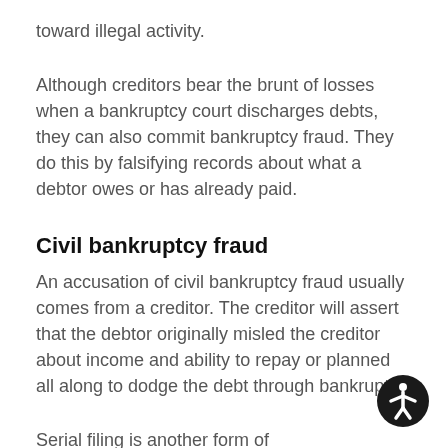toward illegal activity.
Although creditors bear the brunt of losses when a bankruptcy court discharges debts, they can also commit bankruptcy fraud. They do this by falsifying records about what a debtor owes or has already paid.
Civil bankruptcy fraud
An accusation of civil bankruptcy fraud usually comes from a creditor. The creditor will assert that the debtor originally misled the creditor about income and ability to repay or planned all along to dodge the debt through bankruptcy.
Serial filing is another form of bankruptcy fraud. A debtor abuses the system by exploiting the automatic stay by a court upon filing for protection. This halts a